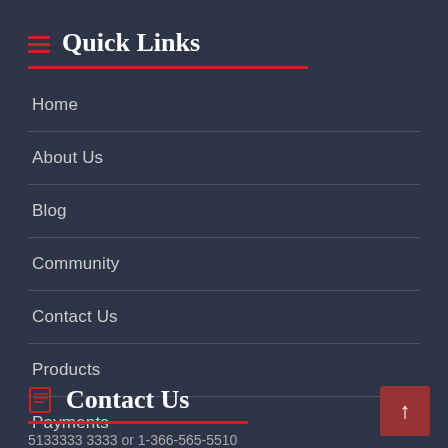Quick Links
Home
About Us
Blog
Community
Contact Us
Products
Payments
Testimonials
Services
Contact Us
5133333 3333 or 1-366-565-5510